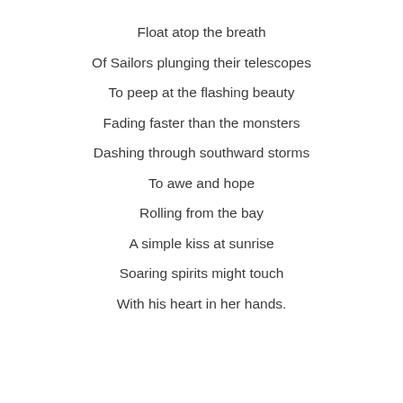Float atop the breath
Of Sailors plunging their telescopes
To peep at the flashing beauty
Fading faster than the monsters
Dashing through southward storms
To awe and hope
Rolling from the bay
A simple kiss at sunrise
Soaring spirits might touch
With his heart in her hands.